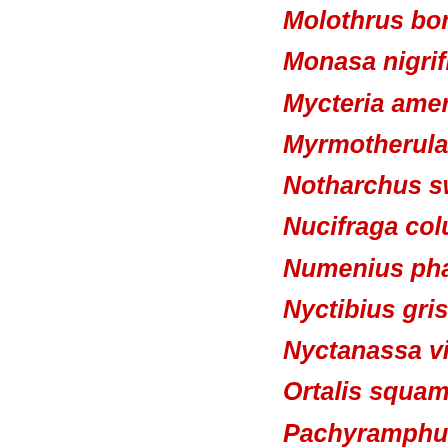Molothrus bonariensis;
Monasa nigrifrons; Cho
Mycteria americana; Ca
Myrmotherula axillaris;
Notharchus swainsoni;
Nucifraga columbiana;
Numenius phaeopus; W
Nyctibius griseus; Mãe-
Nyctanassa violacea; S
Ortalis squamata; Aracu
Pachyramphus castane
Pachyramphus margina
Pandion haliaetus; Águ
Pardirallus nigricans; S
Pardirallus sanguinolen
Paroaria dominicana; C